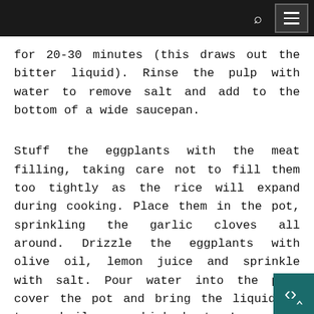for 20-30 minutes (this draws out the bitter liquid). Rinse the pulp with water to remove salt and add to the bottom of a wide saucepan.
Stuff the eggplants with the meat filling, taking care not to fill them too tightly as the rice will expand during cooking. Place them in the pot, sprinkling the garlic cloves all around. Drizzle the eggplants with olive oil, lemon juice and sprinkle with salt. Pour water into the pan, cover the pot and bring the liquid up to a boil over high he... Lower the flame and simmer for 1-2 hou... For the last 30 minutes, uncover the pot